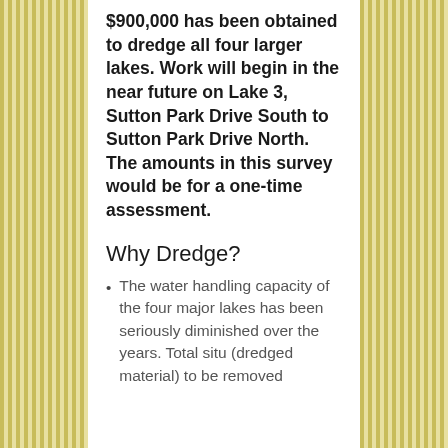$900,000 has been obtained to dredge all four larger lakes. Work will begin in the near future on Lake 3, Sutton Park Drive South to Sutton Park Drive North. The amounts in this survey would be for a one-time assessment.
Why Dredge?
The water handling capacity of the four major lakes has been seriously diminished over the years. Total situ (dredged material) to be removed